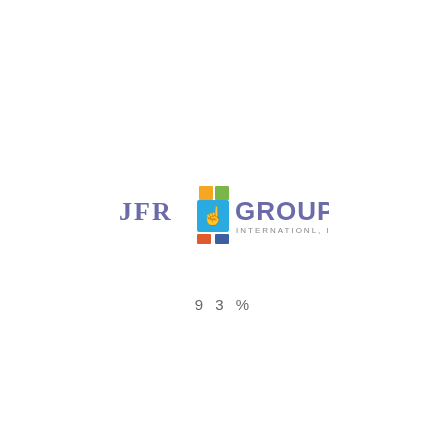[Figure (logo): JFR Group International, Inc. logo with colorful square tiles and a hand pointer icon]
93%